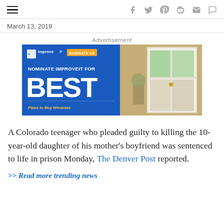navigation and social icons
March 13, 2019
Advertisement
[Figure (other): Advertisement for improveit! windows — blue panel with 'NOMINATE IMPROVEIT FOR BEST Place to Buy Windows' and an orange 'NOMINATE US' button, alongside a photo of an open window with green garden view]
A Colorado teenager who pleaded guilty to killing the 10-year-old daughter of his mother's boyfriend was sentenced to life in prison Monday, The Denver Post reported.
>> Read more trending news